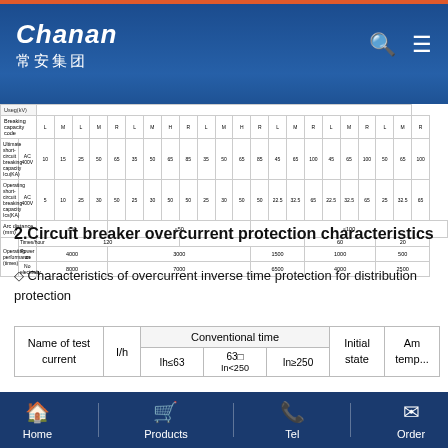Chanan 常安集团
| Breaking capacity code | L | M | L | M | R | L | M | H | R | L | M | H | R | L | M | R | L | M | R | L | M | R |
| --- | --- | --- | --- | --- | --- | --- | --- | --- | --- | --- | --- | --- | --- | --- | --- | --- | --- | --- | --- | --- | --- | --- |
| Ultimate short-circuit breaking capacity Icu(KA) | AC 400V | 10 | 15 | 25 | 50 | 65 | 35 | 50 | 65 | 85 | 35 | 50 | 65 | 85 | 45 | 65 | 100 | 45 | 65 | 100 | 50 | 65 | 100 |
| Operating short-circuit breaking capacity Ics(KA) | AC 400V | 5 | 10 | 25 | 30 | 50 | 25 | 30 | 50 | 50 | 25 | 30 | 50 | 50 | 22.5 | 32.5 | 65 | 22.5 | 32.5 | 65 | 25 | 32.5 | 65 |
| Arc distance (mm) | ≤50 | ≤50 | ≤100 |
| Operating performance (times) | Times/hour | 120 | 60 | 20 |
| Operating performance (times) | Power on | 4000 | 3000 | 1500 | 1000 | 500 |
| Operating performance (times) | No electricity | 8000 | 7000 | 6500 | 4000 | 2500 |
2.Circuit breaker overcurrent protection characteristics
◇ Characteristics of overcurrent inverse time protection for distribution protection
| Name of test current | I/h | Conventional time (Ih≤63) | Conventional time (63<In<250) | Conventional time (In≥250) | Initial state | Ambient tempe... |
| --- | --- | --- | --- | --- | --- | --- |
Home | Products | Tel | Order